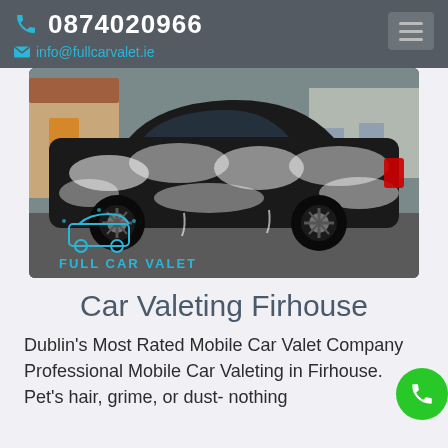0874020966  info@fullcarvalet.ie
[Figure (photo): A black car covered in foam/soap suds being valeted, parked on a residential street. The Full Car Valet logo (cyan car icon and text) is overlaid at the bottom left of the image.]
Car Valeting Firhouse
Dublin's Most Rated Mobile Car Valet Company Professional Mobile Car Valeting in Firhouse. Pet's hair, grime, or dust- nothing